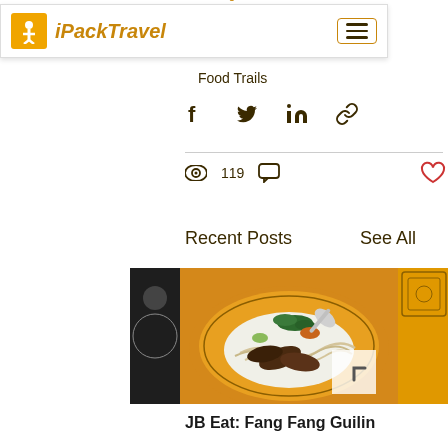Solo Traveller in Guangxi & Yunnan, iPackTravel
Food Trails
[Figure (screenshot): Social sharing icons: Facebook, Twitter, LinkedIn, Link]
119 views, comment icon, heart/like icon
Recent Posts
See All
[Figure (photo): Photo of a bowl of noodles with beef slices, herbs, and condiments on a yellow decorative plate with a spoon]
JB Eat: Fang Fang Guilin